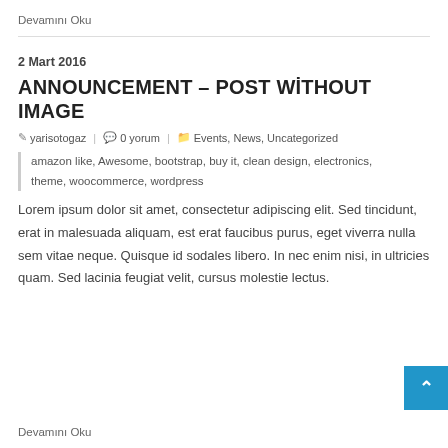Devamını Oku
2 Mart 2016
ANNOUNCEMENT – POST WİTHOUT IMAGE
yarisotogaz | 0 yorum | Events, News, Uncategorized
amazon like, Awesome, bootstrap, buy it, clean design, electronics, theme, woocommerce, wordpress
Lorem ipsum dolor sit amet, consectetur adipiscing elit. Sed tincidunt, erat in malesuada aliquam, est erat faucibus purus, eget viverra nulla sem vitae neque. Quisque id sodales libero. In nec enim nisi, in ultricies quam. Sed lacinia feugiat velit, cursus molestie lectus.
Devamını Oku